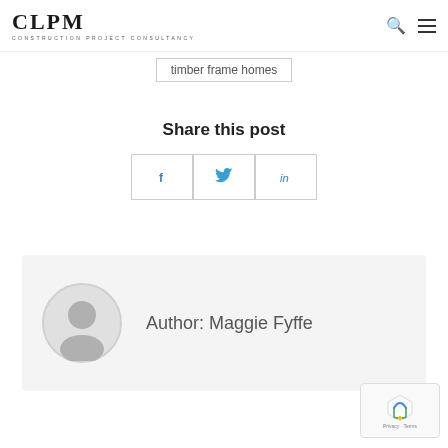CLPM CONSTRUCTION PROJECT CONSULTANCY
timber frame homes
Share this post
[Figure (infographic): Social share buttons: Facebook (f), Twitter (bird icon), LinkedIn (in)]
Author: Maggie Fyffe
[Figure (other): reCAPTCHA badge with Privacy and Terms links, and scroll-to-top button]